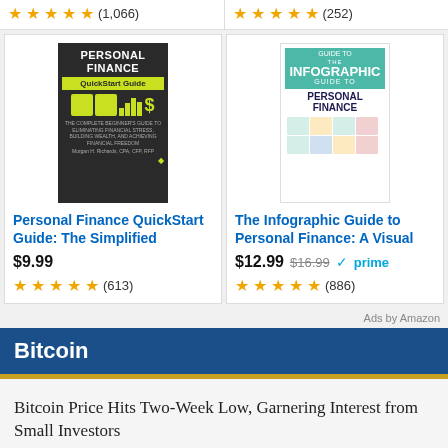★★★★½ (1,066)
★★★★★ (252)
[Figure (photo): Book cover: Personal Finance QuickStart Guide]
Personal Finance QuickStart Guide: The Simplified
$9.99
★★★★½ (613)
[Figure (photo): Book cover: The Infographic Guide to Personal Finance: A Visual]
The Infographic Guide to Personal Finance: A Visual
$12.99 $16.99 ✓prime
★★★★½ (886)
Ads by Amazon
Bitcoin
Bitcoin Price Hits Two-Week Low, Garnering Interest from Small Investors